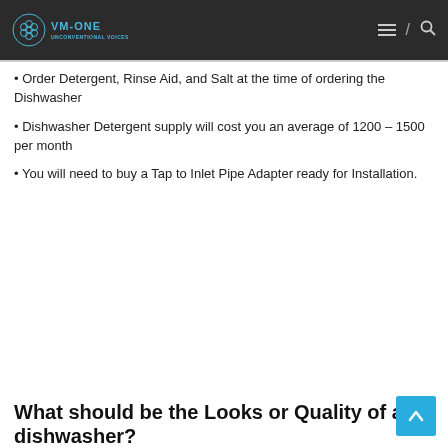VM-ONE | Navigation header with hamburger menu and search icon
Order Detergent, Rinse Aid, and Salt at the time of ordering the Dishwasher
Dishwasher Detergent supply will cost you an average of 1200 – 1500 per month
You will need to buy a Tap to Inlet Pipe Adapter ready for Installation.
What should be the Looks or Quality of a dishwasher?